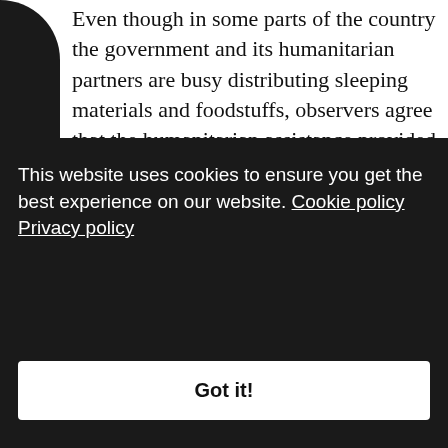Even though in some parts of the country the government and its humanitarian partners are busy distributing sleeping materials and foodstuffs, observers agree that the humanitarian assistance provided to IDPs remains largely insufficient.46 We will come back to this later. Moreover, many IDPs feel neglected and ignored in the provision of humanitarian assistance to people in need in Cameroon.47 Indeed, it has been reported that many IDPs accuse the government of Cameroon of being more sensitive to the situation of refugees while minimising their own.48 The following words of an IDP from the village of Zamay in the Far North
This website uses cookies to ensure you get the best experience on our website. Cookie policy Privacy policy
Got it!